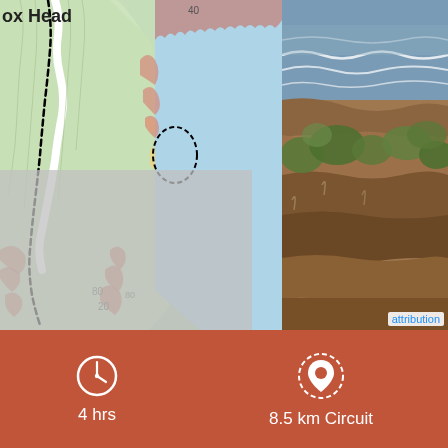[Figure (map): Topographic trail map showing a coastal headland with contour lines, dashed black trail route, green terrain, pink/red cliff erosion features, yellow sandy beach areas, blue ocean water. Text 'ox Head' visible top-left (partially cropped). Contour elevation labels visible (40, 80, 20).]
[Figure (photo): Photograph of coastal cliffs with ocean waves visible at top, rocky/earthy cliff face with green vegetation in the right panel of the map section.]
attribution
4 hrs
8.5 km Circuit